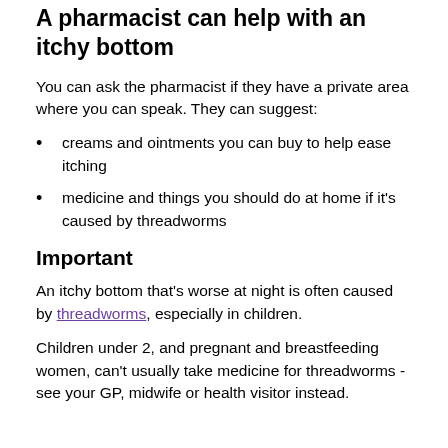A pharmacist can help with an itchy bottom
You can ask the pharmacist if they have a private area where you can speak. They can suggest:
creams and ointments you can buy to help ease itching
medicine and things you should do at home if it's caused by threadworms
Important
An itchy bottom that's worse at night is often caused by threadworms, especially in children.
Children under 2, and pregnant and breastfeeding women, can't usually take medicine for threadworms - see your GP, midwife or health visitor instead.